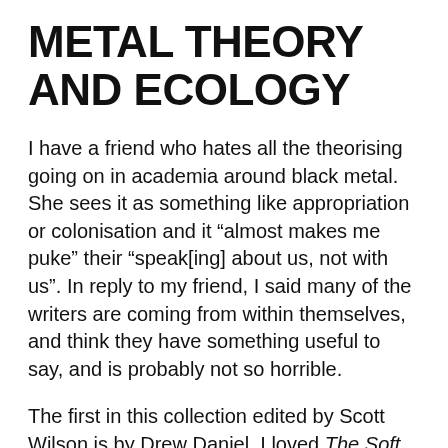METAL THEORY AND ECOLOGY
I have a friend who hates all the theorising going on in academia around black metal. She sees it as something like appropriation or colonisation and it “almost makes me puke” their “speak[ing] about us, not with us”. In reply to my friend, I said many of the writers are coming from within themselves, and think they have something useful to say, and is probably not so horrible.
The first in this collection edited by Scott Wilson is by Drew Daniel. I loved The Soft Pink Truth and the album, Do You Want New Wave